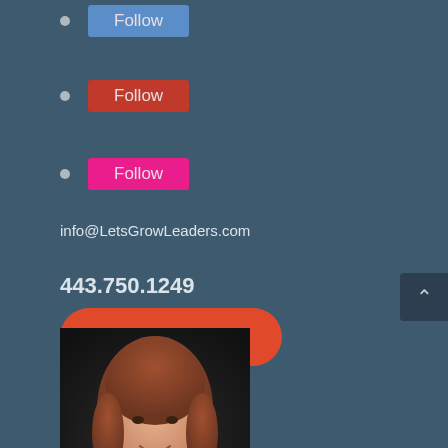Follow
Follow
Follow
info@LetsGrowLeaders.com
443.750.1249
Let's Talk
[Figure (photo): Headshot photo of a woman with long brown hair, smiling, against a dark background]